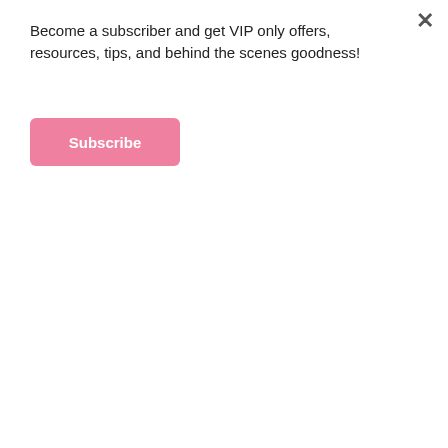Become a subscriber and get VIP only offers, resources, tips, and behind the scenes goodness!
Subscribe
I'm Amy.
I'm just a girl trying to find life's balance between being Me and Mom. I love a glass of wine, running crazy distances and all things pink and sparkly. This blog is designed to help moms stay active, keep up with their kids and live life to the fullest.
[Figure (infographic): Dark forest advertisement banner: 'Just $2 can protect 1 acre of irreplaceable forest homes in the Amazon. How many acres are you willing to protect?' with a green 'PROTECT FORESTS NOW' button.]